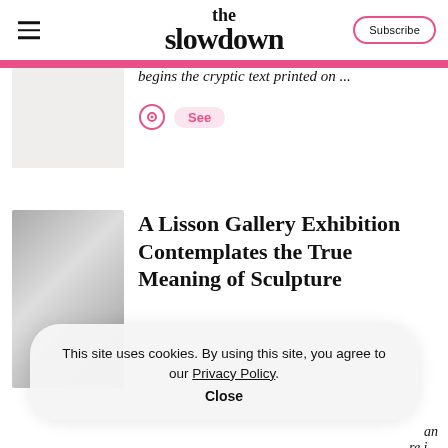the slowdown
begins the cryptic text printed on ...
See
A Lisson Gallery Exhibition Contemplates the True Meaning of Sculpture
This site uses cookies. By using this site, you agree to our Privacy Policy.
Close